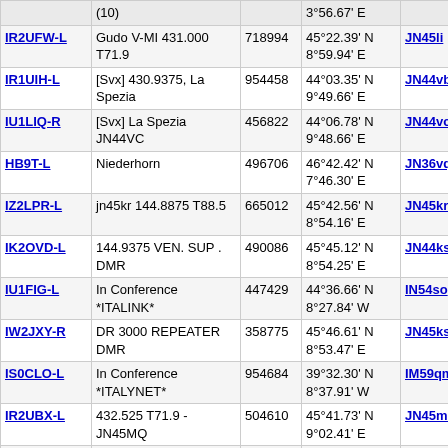| Callsign | Description | Node | Coordinates | Grid | Dist | Freq |
| --- | --- | --- | --- | --- | --- | --- |
|  | (10) |  | 3°56.67' E |  |  |  |
| IR2UFW-L | Gudo V-MI 431.000 T71.9 | 718994 | 45°22.39' N 8°59.94' E | JN45li | 494.1 | 43 |
| IR1UIH-L | [Svx] 430.9375, La Spezia | 954458 | 44°03.35' N 9°49.66' E | JN44vb | 496.3 | 43 |
| IU1LIQ-R | [Svx] La Spezia JN44VC | 456822 | 44°06.78' N 9°48.66' E | JN44vc | 496.7 | 14 |
| HB9T-L | Niederhorn | 496706 | 46°42.42' N 7°46.30' E | JN36vq | 500.0 | 43 |
| IZ2LPR-L | jn45kr 144.8875 T88.5 | 665012 | 45°42.56' N 8°54.16' E | JN45kr | 501.8 | 14 |
| IK2OVD-L | 144.9375 VEN. SUP . DMR | 490086 | 45°45.12' N 8°54.25' E | JN44ks | 503.4 | 14 |
| IU1FIG-L | In Conference *ITALINK* | 447429 | 44°36.66' N 8°27.84' W | IN54so | 503.5 | 14 |
| IW2JXY-R | DR 3000 REPEATER DMR | 358775 | 45°46.61' N 8°53.47' E | JN45ks | 503.8 | 14 |
| IS0CLO-L | In Conference *ITALYNET* | 954684 | 39°32.30' N 8°37.91' W | IM59qm | 506.6 | 14 |
| IR2UBX-L | 432.525 T71.9 - JN45MQ | 504610 | 45°41.73' N 9°02.41' E | JN45mq | 507.0 | 43 |
| HB9OK-L | Caslano [0/20] | 668144 | 45°58.31' N 8°52.93' E | JN45kx | 510.7 | 14 |
| HB9UHF-R | Locarno,TI, 439.150 | 439150 | 46°07.63' N 8°48.83' E | JN46jd | 514.0 | 43 |
| IR4UCD-R | RU20 Salsomaggiore Terme,PR | 8526 | 44°49.25' N 9°59.71' E | JN44xt | 521.0 | 43 |